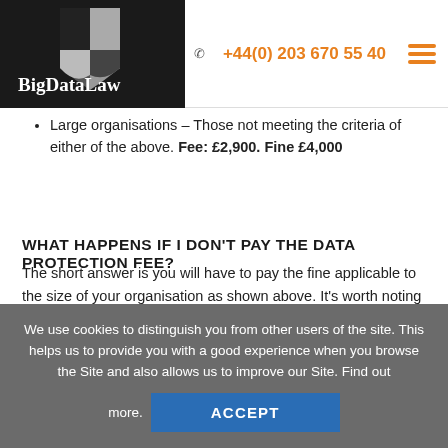BigDataLaw | +44(0) 203 670 55 40
Large organisations – Those not meeting the criteria of either of the above. Fee: £2,900. Fine £4,000
WHAT HAPPENS IF I DON'T PAY THE DATA PROTECTION FEE?
The short answer is you will have to pay the fine applicable to the size of your organisation as shown above. It's worth noting that in November 2018 the ICO took the first steps toward imposing fines on organisations that had not paid the data
We use cookies to distinguish you from other users of the site. This helps us to provide you with a good experience when you browse the Site and also allows us to improve our Site. Find out more. ACCEPT